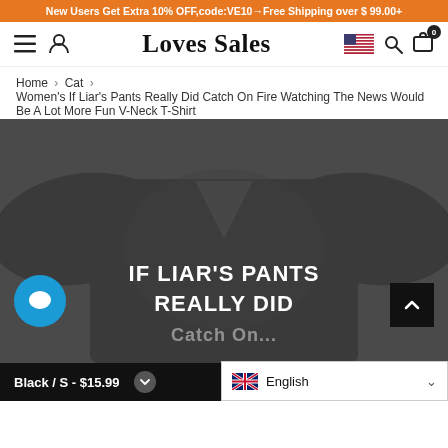New Users Get Extra 10% OFF,code:VE10→Free Shipping over $99.00+
[Figure (screenshot): Website navigation bar with hamburger menu, user icon, Loves Sales logo, US flag, search icon, and cart icon with 0 badge]
Home › Cat › Women's If Liar's Pants Really Did Catch On Fire Watching The News Would Be A Lot More Fun V-Neck T-Shirt
[Figure (photo): Dark heather grey V-neck t-shirt with bold white text reading IF LIAR'S PANTS REALLY DID (catch on fire...)]
Black / S - $15.99